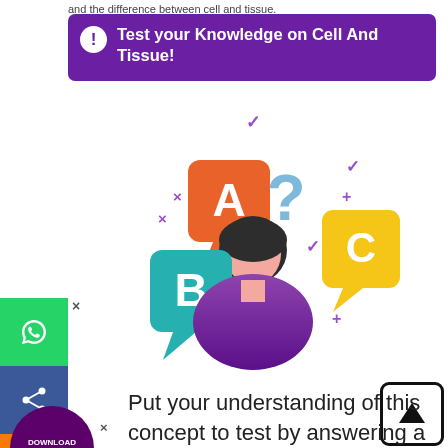and the difference between cell and tissue.
Test your Knowledge on Cell And Tissue!
[Figure (illustration): Quiz illustration showing a person with multiple choice bubbles labeled A, B, C and a question mark, surrounded by check marks, X marks and plus signs in purple/violet color]
Put your understanding of this concept to test by answering a few MCQs. Click ‘Start Quiz’ to